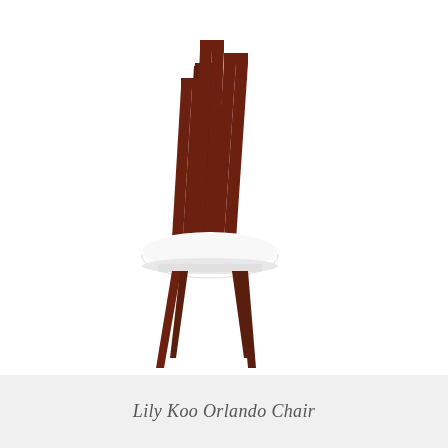[Figure (illustration): Product photo of the Lily Koo Orlando Chair — a modern dining chair with a dramatic dark walnut-finished back featuring three slender elongated parallelogram-shaped open frames of varying heights arranged in a staggered composition, a white upholstered seat cushion, and four tapered dark wood legs.]
Lily Koo Orlando Chair